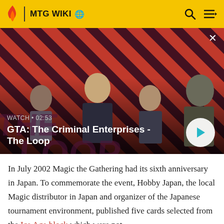MTG WIKI
[Figure (screenshot): Video thumbnail showing characters from GTA: The Criminal Enterprises on a red striped background with 'THE LOOP' text overlay. Shows watch time 02:53 and a play button.]
GTA: The Criminal Enterprises - The Loop
In July 2002 Magic the Gathering had its sixth anniversary in Japan. To commemorate the event, Hobby Japan, the local Magic distributor in Japan and organizer of the Japanese tournament environment, published five cards selected from the Ice Age block which were not